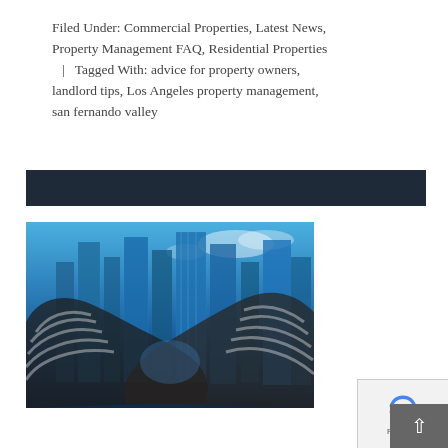Filed Under: Commercial Properties, Latest News, Property Management FAQ, Residential Properties  |  Tagged With: advice for property owners, landlord tips, Los Angeles property management, san fernando valley
[Figure (other): Dark navy/dark teal horizontal banner bar]
[Figure (photo): Double-exposure photo of two hands shaking overlaid with a blue-toned cityscape of tall buildings and sky]